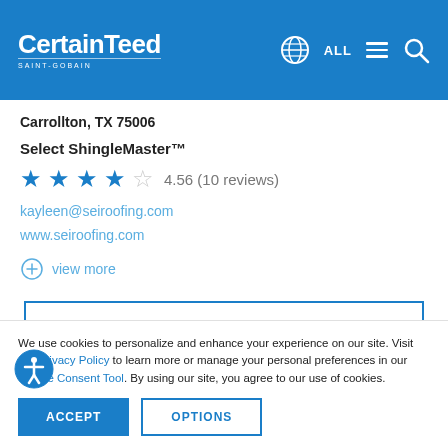CertainTeed SAINT-GOBAIN
Carrollton, TX 75006
Select ShingleMaster™
4.56 (10 reviews)
kayleen@seiroofing.com
www.seiroofing.com
view more
ADD TO MY PROS
We use cookies to personalize and enhance your experience on our site. Visit our Privacy Policy to learn more or manage your personal preferences in our Cookie Consent Tool. By using our site, you agree to our use of cookies.